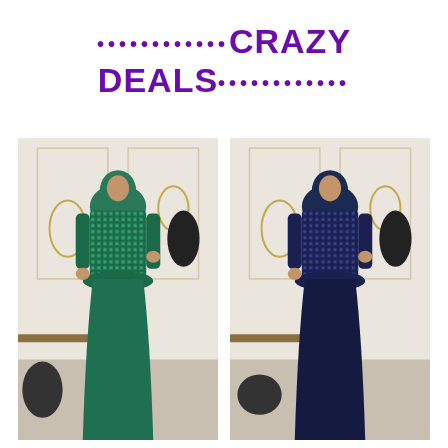••••••••••••CRAZY DEALS••••••••••••
[Figure (photo): Woman wearing a dark green sequined peplum top with matching hijab and long green skirt, posing in an elegant white and gold decorated room.]
[Figure (photo): Woman wearing a navy blue sequined peplum top with matching hijab and long navy blue skirt, posing in an elegant white and gold decorated room.]